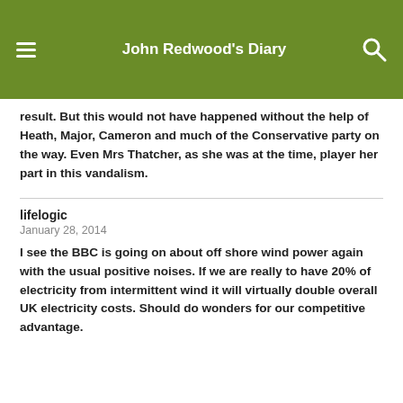John Redwood's Diary
result. But this would not have happened without the help of Heath, Major, Cameron and much of the Conservative party on the way. Even Mrs Thatcher, as she was at the time, player her part in this vandalism.
lifelogic
January 28, 2014
I see the BBC is going on about off shore wind power again with the usual positive noises. If we are really to have 20% of electricity from intermittent wind it will virtually double overall UK electricity costs. Should do wonders for our competitive advantage.